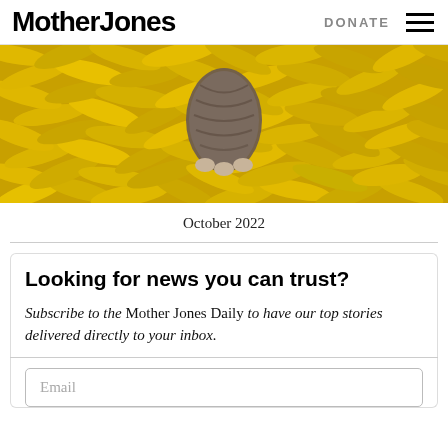Mother Jones | DONATE
[Figure (photo): Overhead photo of a large pile of yellow bananas with what appears to be an elephant foot or trunk visible in the center]
October 2022
Looking for news you can trust?
Subscribe to the Mother Jones Daily to have our top stories delivered directly to your inbox.
Email